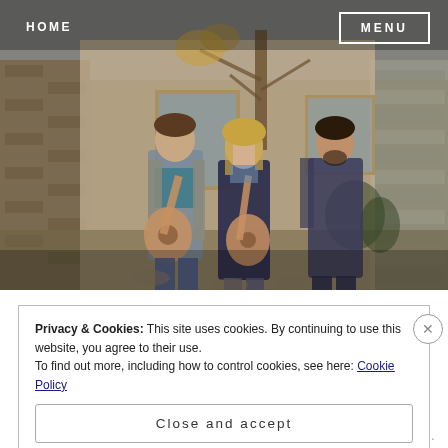[Figure (photo): Three musicians standing outdoors against a rustic adobe wall. Left: man in jacket playing acoustic guitar. Center: woman in dark coat playing acoustic guitar. Right: man in dark jacket looking upward. Trees and windows visible in background.]
HOME
MENU
Privacy & Cookies: This site uses cookies. By continuing to use this website, you agree to their use.
To find out more, including how to control cookies, see here: Cookie Policy
Close and accept
Follow